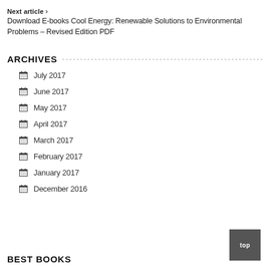Next article >
Download E-books Cool Energy: Renewable Solutions to Environmental Problems – Revised Edition PDF
ARCHIVES
July 2017
June 2017
May 2017
April 2017
March 2017
February 2017
January 2017
December 2016
BEST BOOKS